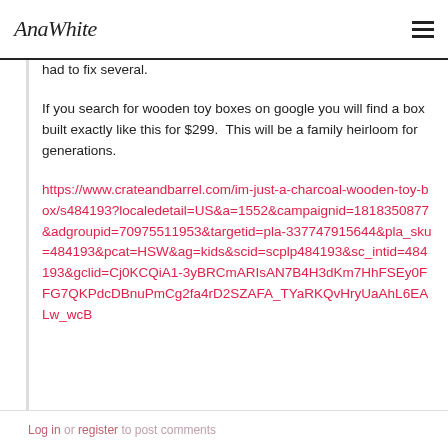AnaWhite
had to fix several.
If you search for wooden toy boxes on google you will find a box built exactly like this for $299.  This will be a family heirloom for generations.
https://www.crateandbarrel.com/im-just-a-charcoal-wooden-toy-box/s484193?localedetail=US&a=1552&campaignid=1818350877&adgroupid=70975511953&targetid=pla-337747915644&pla_sku=484193&pcat=HSW&ag=kids&scid=scplp484193&sc_intid=484193&gclid=Cj0KCQiA1-3yBRCmARIsAN7B4H3dKm7HhFSEy0FFG7QKPdcDBnuPmCg2fa4rD2SZAFA_TYaRKQvHryUaAhL6EALw_wcB
Log in or register to post comments